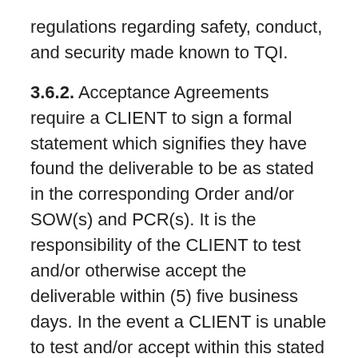regulations regarding safety, conduct, and security made known to TQI.
3.6.2. Acceptance Agreements require a CLIENT to sign a formal statement which signifies they have found the deliverable to be as stated in the corresponding Order and/or SOW(s) and PCR(s). It is the responsibility of the CLIENT to test and/or otherwise accept the deliverable within (5) five business days. In the event a CLIENT is unable to test and/or accept within this stated period, a CLIENT may request, in writing